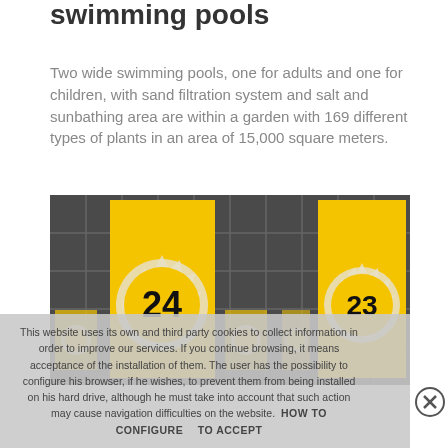swimming pools
Two wide swimming pools, one for adults and one for children, with sand filtration system and salt and sunbathing area are within a garden with 169 different types of plants in an area of 15,000 square meters.
[Figure (photo): Photo of yellow numbered sun-badge signs (numbers 24 and 23) mounted on a grid-patterned wall/structure, typical of a swimming pool locker or changing area signage.]
This website uses its own and third party cookies to collect information in order to improve our services. If you continue browsing, it means acceptance of the installation of them. The user has the possibility to configure his browser, if he wishes, to prevent them from being installed on his hard drive, although he must take into account that such action may cause navigation difficulties on the website.  HOW TO CONFIGURE     TO ACCEPT